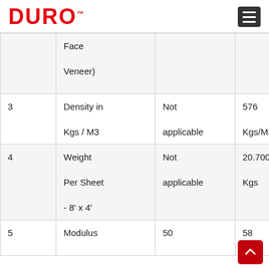DURO
|  |  |  |  |
| --- | --- | --- | --- |
|  | Face Veneer) |  |  |
| 3 | Density in Kgs / M3 | Not applicable | 576 Kgs/M3 |
| 4 | Weight Per Sheet - 8' x 4' | Not applicable | 20.700 Kgs |
| 5 | Modulus | 50 | 58 |